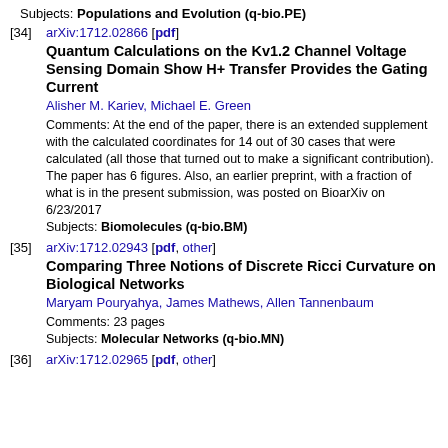Subjects: Populations and Evolution (q-bio.PE)
[34] arXiv:1712.02866 [pdf]
Quantum Calculations on the Kv1.2 Channel Voltage Sensing Domain Show H+ Transfer Provides the Gating Current
Alisher M. Kariev, Michael E. Green
Comments: At the end of the paper, there is an extended supplement with the calculated coordinates for 14 out of 30 cases that were calculated (all those that turned out to make a significant contribution). The paper has 6 figures. Also, an earlier preprint, with a fraction of what is in the present submission, was posted on BioarXiv on 6/23/2017
Subjects: Biomolecules (q-bio.BM)
[35] arXiv:1712.02943 [pdf, other]
Comparing Three Notions of Discrete Ricci Curvature on Biological Networks
Maryam Pouryahya, James Mathews, Allen Tannenbaum
Comments: 23 pages
Subjects: Molecular Networks (q-bio.MN)
[36] arXiv:1712.02965 [pdf, other]